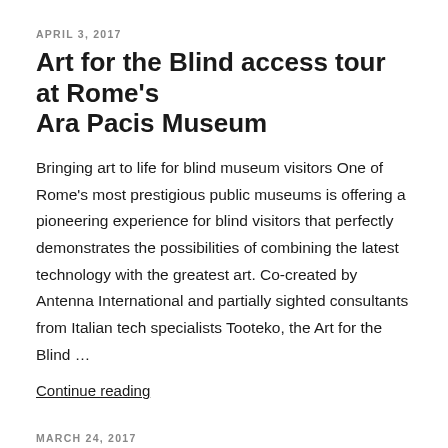APRIL 3, 2017
Art for the Blind access tour at Rome’s Ara Pacis Museum
Bringing art to life for blind museum visitors One of Rome’s most prestigious public museums is offering a pioneering experience for blind visitors that perfectly demonstrates the possibilities of combining the latest technology with the greatest art. Co-created by Antenna International and partially sighted consultants from Italian tech specialists Tooteko, the Art for the Blind …
Continue reading
MARCH 24, 2017
VERTIGO STARTS Artistic Residencies Program. Deadline: April 10, 2017